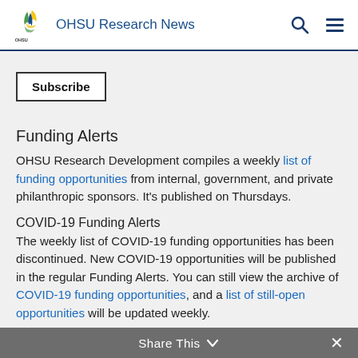OHSU Research News
Subscribe
Funding Alerts
OHSU Research Development compiles a weekly list of funding opportunities from internal, government, and private philanthropic sponsors. It's published on Thursdays.
COVID-19 Funding Alerts
The weekly list of COVID-19 funding opportunities has been discontinued. New COVID-19 opportunities will be published in the regular Funding Alerts. You can still view the archive of COVID-19 funding opportunities, and a list of still-open opportunities will be updated weekly.
Share This